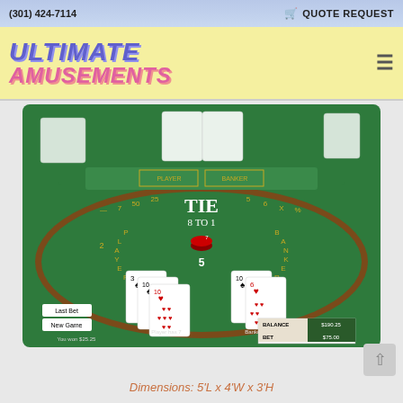(301) 424-7114   🛒 QUOTE REQUEST
[Figure (logo): Ultimate Amusements logo — purple italic ULTIMATE text above pink italic AMUSEMENTS text, on yellow background, with hamburger menu icon on right]
[Figure (photo): Baccarat casino table with green felt, showing cards dealt for player and banker, chips, TIE 8 TO 1 text in center, game UI overlays showing Last Bet, New Game buttons, Balance $190.25 and Bet $75.00 fields, Player has 7 and Banker has 6 labels]
Dimensions: 5'L x 4'W x 3'H